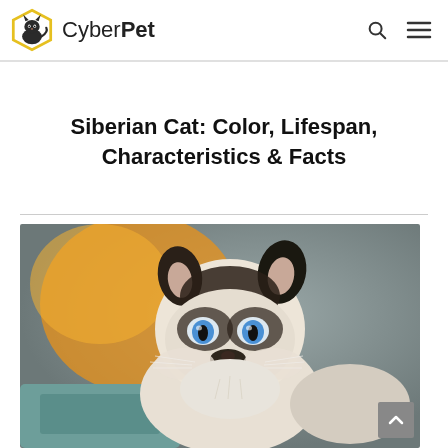CyberPet
Siberian Cat: Color, Lifespan, Characteristics & Facts
[Figure (photo): Close-up photo of a Siberian kitten with blue eyes, white and dark brown/black fur markings, looking directly at the camera against a blurred background.]